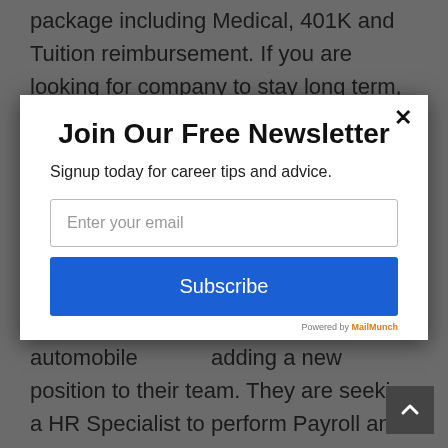package including Medical, 401K and Tuition reimbursement. If you are looking for company to stay long term, this is [...]
Join Our Free Newsletter
Signup today for career tips and advice.
Enter your email
Subscribe
Due to growth this well established automobile adding a new position to their team. They are seeking a HR Specialist to perform Payroll and 401k administration company offers excellent work life balance and benefit